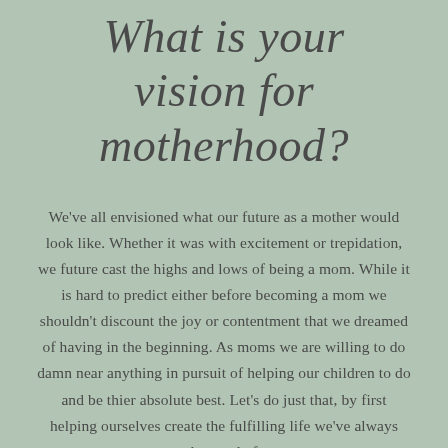What is your vision for motherhood?
We've all envisioned what our future as a mother would look like. Whether it was with excitement or trepidation, we future cast the highs and lows of being a mom. While it is hard to predict either before becoming a mom we shouldn't discount the joy or contentment that we dreamed of having in the beginning. As moms we are willing to do damn near anything in pursuit of helping our children to do and be thier absolute best. Let's do just that, by first helping ourselves create the fulfilling life we've always dreamed of.